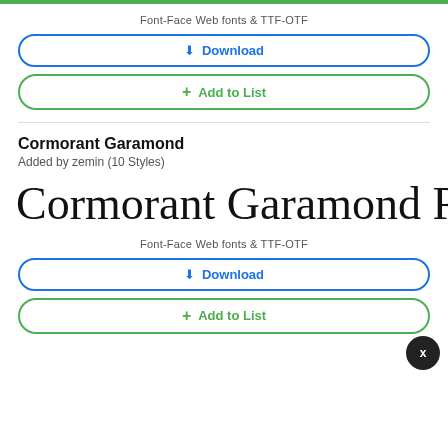Font-Face Web fonts & TTF-OTF
Download
+ Add to List
Cormorant Garamond
Added by zemin (10 Styles)
[Figure (other): Large font preview text showing 'Cormorant Garamond Regular A' in serif style]
Font-Face Web fonts & TTF-OTF
Download
+ Add to List